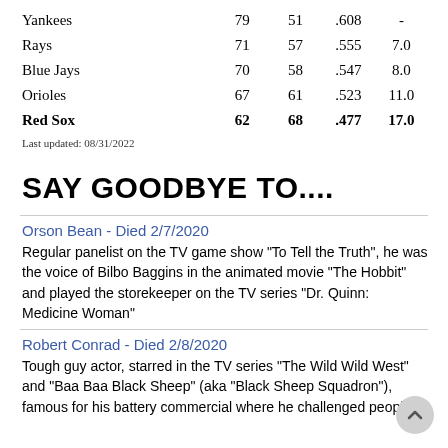| Team | W | L | PCT | GB |
| --- | --- | --- | --- | --- |
| Yankees | 79 | 51 | .608 | - |
| Rays | 71 | 57 | .555 | 7.0 |
| Blue Jays | 70 | 58 | .547 | 8.0 |
| Orioles | 67 | 61 | .523 | 11.0 |
| Red Sox | 62 | 68 | .477 | 17.0 |
Last updated: 08/31/2022
SAY GOODBYE TO....
Orson Bean - Died 2/7/2020
Regular panelist on the TV game show "To Tell the Truth", he was the voice of Bilbo Baggins in the animated movie "The Hobbit" and played the storekeeper on the TV series "Dr. Quinn: Medicine Woman"
Robert Conrad - Died 2/8/2020
Tough guy actor, starred in the TV series "The Wild Wild West" and "Baa Baa Black Sheep" (aka "Black Sheep Squadron"), famous for his battery commercial where he challenged people to